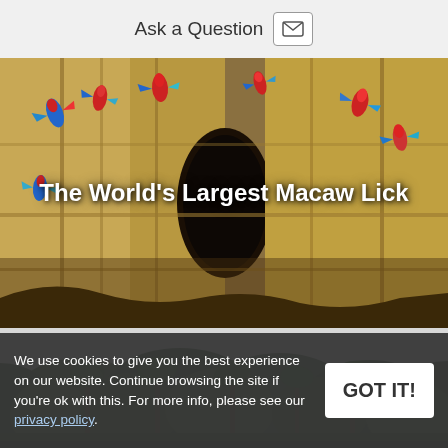Ask a Question
[Figure (photo): Colorful red-and-green macaws clinging to a large clay cliff/lick wall. Multiple macaws are visible across the ochre-yellow eroded cliff face with a dark cave opening in the center. Title text 'The World's Largest Macaw Lick' overlaid in white.]
The World's Largest Macaw Lick
[Figure (photo): Aerial or distant view of a lush forest/jungle tree canopy with tall palm trees against a grey overcast sky.]
We use cookies to give you the best experience on our website. Continue browsing the site if you're ok with this. For more info, please see our privacy policy.